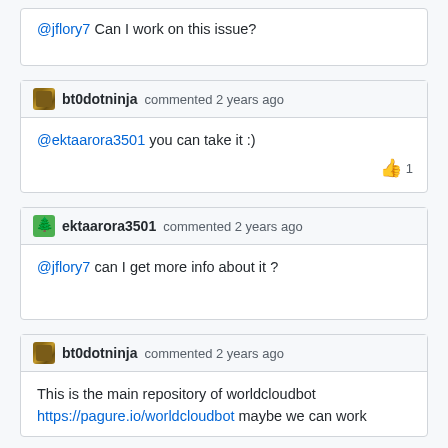@jflory7 Can I work on this issue?
bt0dotninja commented 2 years ago
@ektaarora3501 you can take it :)
ektaarora3501 commented 2 years ago
@jflory7 can I get more info about it ?
bt0dotninja commented 2 years ago
This is the main repository of worldcloudbot https://pagure.io/worldcloudbot maybe we can work